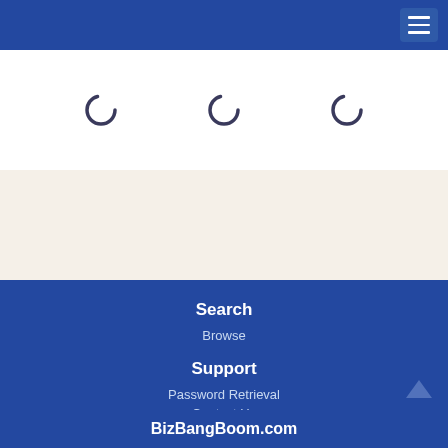Navigation header with hamburger menu
[Figure (illustration): Three circular spinner/loading icons on a white background panel]
Search
Browse
Support
Password Retrieval
Contact Us
BizBangBoom.com